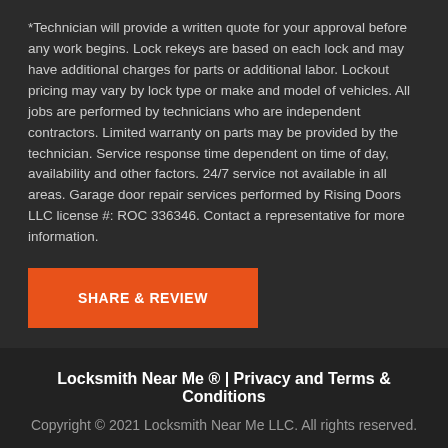*Technician will provide a written quote for your approval before any work begins. Lock rekeys are based on each lock and may have additional charges for parts or additional labor. Lockout pricing may vary by lock type or make and model of vehicles. All jobs are performed by technicians who are independent contractors. Limited warranty on parts may be provided by the technician. Service response time dependent on time of day, availability and other factors. 24/7 service not available in all areas. Garage door repair services performed by Rising Doors LLC license #: ROC 336346. Contact a representative for more information.
SHARE & REVIEW
Locksmith Near Me ® | Privacy and Terms & Conditions
Copyright © 2021 Locksmith Near Me LLC. All rights reserved.